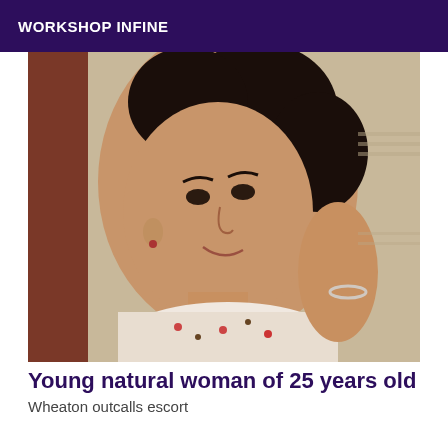WORKSHOP INFINE
[Figure (photo): A young woman with curly dark hair, smiling, wearing a patterned tank top, resting her head on her hand against a light wall background.]
Young natural woman of 25 years old
Wheaton outcalls escort